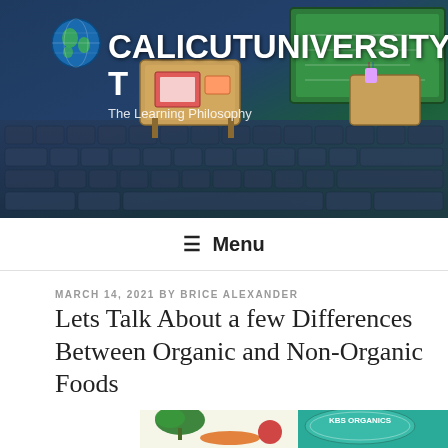[Figure (photo): Website header banner with illustrated classroom/laptop keyboard scene, globe icon, showing site title CALICUTUNIVERSITYRESULT and tagline 'The Learning Philosophy']
CALICUTUNIVERSITYRESULT
The Learning Philosophy
≡  Menu
MARCH 14, 2021 BY BRICE ALEXANDER
Lets Talk About a few Differences Between Organic and Non-Organic Foods
[Figure (photo): Photo of fresh vegetables including broccoli, carrots, tomatoes, and herbs with KBS Organics branded packaging visible in upper right corner]